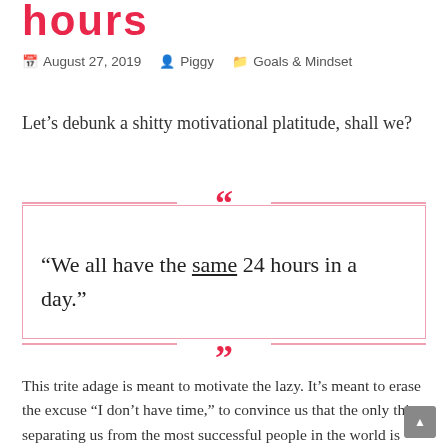hours
August 27, 2019   Piggy   Goals & Mindset
Let’s debunk a shitty motivational platitude, shall we?
“We all have the same 24 hours in a day.”
This trite adage is meant to motivate the lazy. It’s meant to erase the excuse “I don’t have time,” to convince us that the only thing separating us from the most successful people in the world is how we spend our allotted twenty-four hours every day.